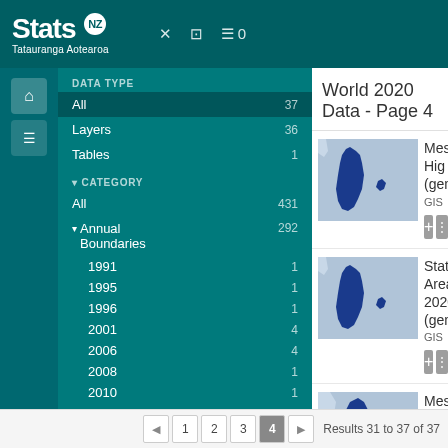Stats NZ Tatauranga Aotearoa
World 2020 Data - Page 4
DATA TYPE
All 37
Layers 36
Tables 1
CATEGORY
All 431
Annual Boundaries 292
1991 1
1995 1
1996 1
2001 4
2006 4
2008 1
2010 1
2012 9
2013 11
2014 6
2015 14
2016 11
[Figure (map): Map thumbnail of New Zealand showing meshblock high generalised boundaries]
Meshblock High (generalised)
GIS
[Figure (map): Map thumbnail of New Zealand showing statistical area 2020 generalised boundaries]
Statistical Area 2020 (generalised)
GIS
[Figure (map): Map thumbnail of New Zealand showing Meshblock 2020]
Meshblock 2020
GIS
1 2 3 4 ▶ Results 31 to 37 of 37